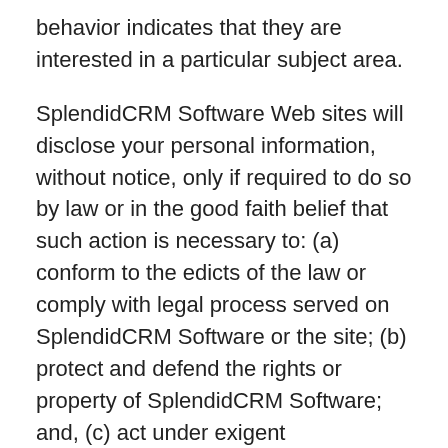behavior indicates that they are interested in a particular subject area.
SplendidCRM Software Web sites will disclose your personal information, without notice, only if required to do so by law or in the good faith belief that such action is necessary to: (a) conform to the edicts of the law or comply with legal process served on SplendidCRM Software or the site; (b) protect and defend the rights or property of SplendidCRM Software; and, (c) act under exigent circumstances to protect the personal safety of users of SplendidCRM Software, or the public.
Use of Cookies
The SplendidCRM Software Web site use "cookies" to help you personalize your online experience. A cookie is a text file that is placed on your hard disk by a Web server. Cookies cannot be used to run...